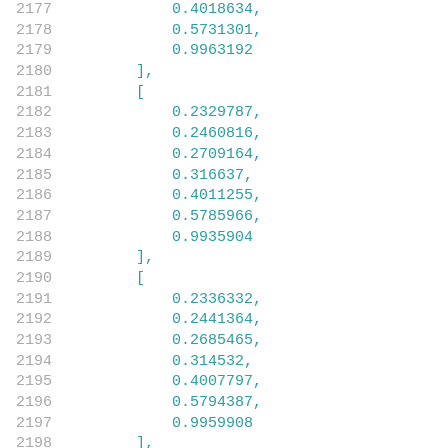2177    0.4018634,
2178    0.5731301,
2179    0.9963192
2180    ],
2181    [
2182    0.2329787,
2183    0.2460816,
2184    0.2709164,
2185    0.316637,
2186    0.4011255,
2187    0.5785966,
2188    0.9935904
2189    ],
2190    [
2191    0.2336332,
2192    0.2441364,
2193    0.2685465,
2194    0.314532,
2195    0.4007797,
2196    0.5794387,
2197    0.9959908
2198    ],